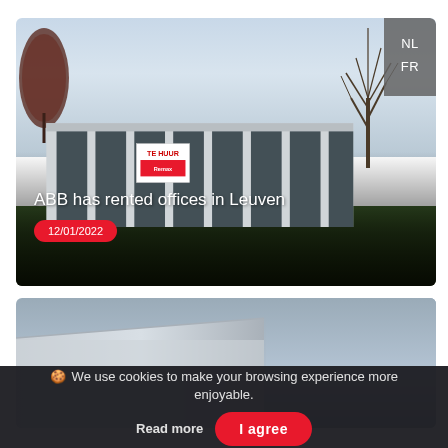[Figure (photo): Exterior photo of a modern low-rise office building with large glass windows and 'TE HUUR' (For Rent) sign with Remax branding. Bare trees visible, overcast sky. Overlay text: 'ABB has rented offices in Leuven' with date badge '12/01/2022'. Language navigation NL/FR visible top right.]
ABB has rented offices in Leuven
12/01/2022
[Figure (photo): Exterior photo of a modern building corner/facade with light-colored cladding against an overcast sky.]
🍪 We use cookies to make your browsing experience more enjoyable. Read more
I agree